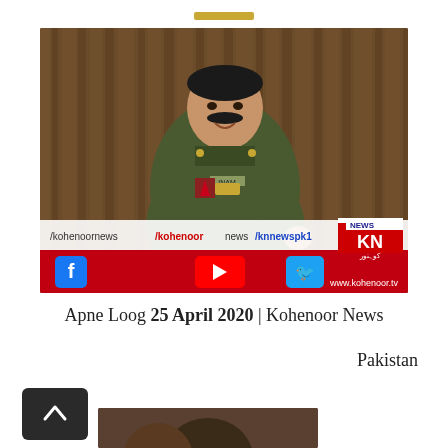[Figure (screenshot): A Pakistani police officer in olive/khaki uniform sitting and gesturing, with a wooden paneled background. The video frame shows Kohenoor News branding overlay at the bottom including Facebook, YouTube, Twitter social media handles (/knnewspk1, /kohenoornews, /kohenoor news) and www.kohenoor.tv website. KN News logo visible at bottom right.]
Apne Loog 25 April 2020 | Kohenoor News Pakistan